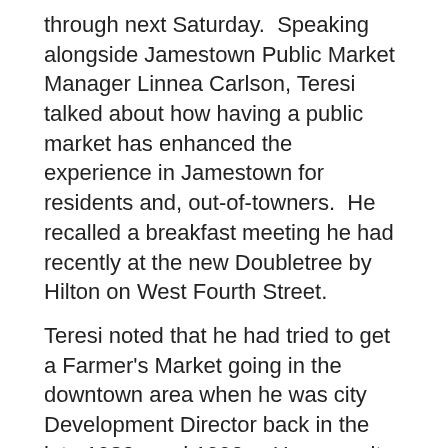through next Saturday.  Speaking alongside Jamestown Public Market Manager Linnea Carlson, Teresi talked about how having a public market has enhanced the experience in Jamestown for residents and, out-of-towners.  He recalled a breakfast meeting he had recently at the new Doubletree by Hilton on West Fourth Street.
Teresi noted that he had tried to get a Farmer's Market going in the downtown area when he was city Development Director back in the late 1980s and 1990s.  However, it didn't happen until a few years ago.  Carlson was pleased with the turn-out and, agreed with Teresi about the economic impact farmers and public markets have nationwide.  Locally, she says there's about a 2-to-1 return on money spent here.  The Jamestown Public Market is held each Saturday from 10 AM to 2 PM on Cherry Street between West Second and Third Streets.